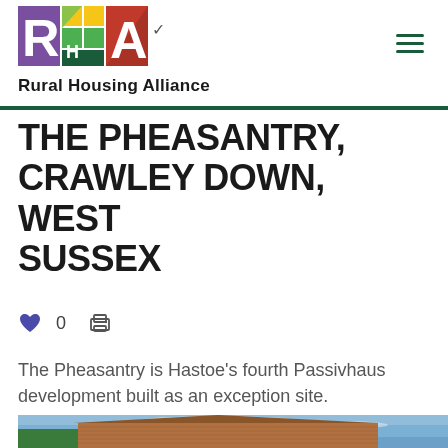Rural Housing Alliance
THE PHEASANTRY, CRAWLEY DOWN, WEST SUSSEX
0
The Pheasantry is Hastoe's fourth Passivhaus development built as an exception site.
[Figure (photo): Exterior photograph of a brick building against a blue sky with trees visible in the background]